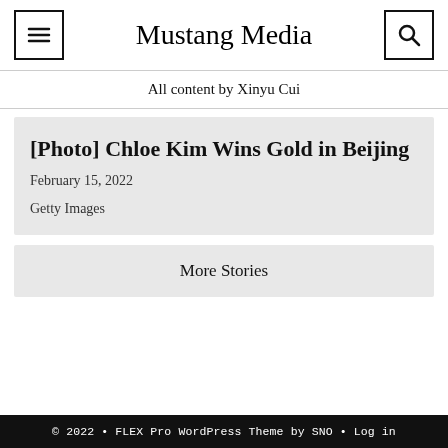Mustang Media
All content by Xinyu Cui
[Photo] Chloe Kim Wins Gold in Beijing
February 15, 2022
Getty Images
More Stories
© 2022 • FLEX Pro WordPress Theme by SNO • Log in